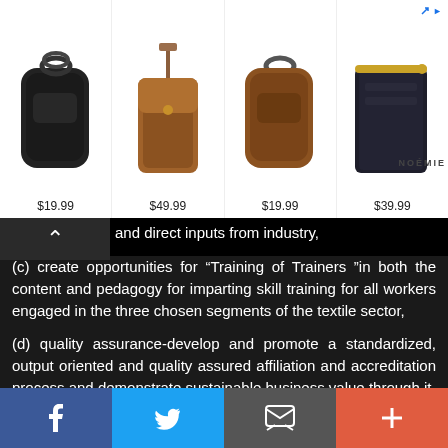[Figure (photo): Advertisement banner showing four leather products: black AirPods case ($19.99), brown phone pouch ($49.99), brown AirPods case ($19.99), dark wallet ($39.99). Noémie brand logo in top right corner.]
and direct inputs from industry,
(c) create opportunities for “Training of Trainers ” in both the content and pedagogy for imparting skill training for all workers engaged in the three chosen segments of the textile sector,
(d) quality assurance-develop and promote a standardized, output oriented and quality assured affiliation and accreditation process and demonstrate sustainable business value through it,
(e) focus on continuous improvisation of the training delivery value chain, i.e. training process, training content, trainers, curriculum design, industry endorsement for certification etc.,
(f) partner with training providers and guide them into becoming centre so excellence and innovation by utilizing the standardization in training, evaluation and certification developed by the SSC of the sector.